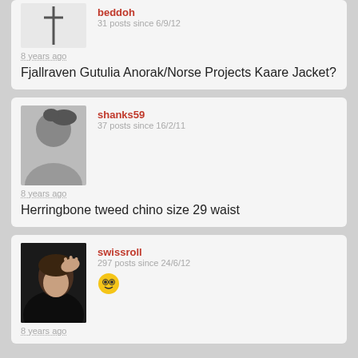[Figure (screenshot): Partial forum post card showing user 'beddoh' with cross avatar icon, '31 posts since 6/9/12', timestamp '8 years ago', and post title 'Fjallraven Gutulia Anorak/Norse Projects Kaare Jacket?']
[Figure (screenshot): Forum post card showing user 'shanks59' with generic avatar silhouette, '37 posts since 16/2/11', timestamp '8 years ago', and post title 'Herringbone tweed chino size 29 waist']
[Figure (screenshot): Forum post card showing user 'swissroll' with photo avatar of person touching hair, '297 posts since 24/6/12', an emoji badge, and timestamp '8 years ago']